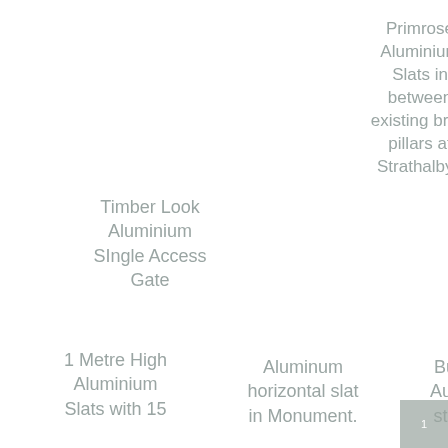Primrose Aluminium Slats in between existing brick pillars at Strathalbyn
Aluminum slat with 5mm gaps at west lakes
Timber Look Aluminium SIngle Access Gate
1 Metre High Aluminium Slats with 15
Aluminum horizontal slat in Monument.
Built with Australian steel and